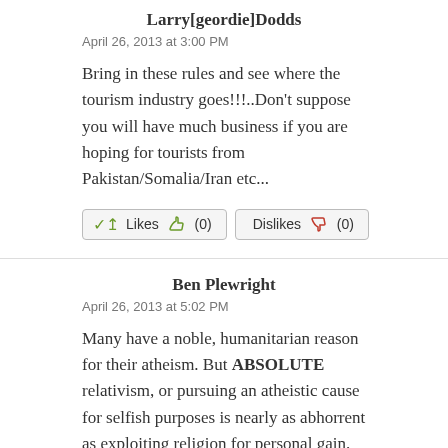Larry[geordie]Dodds
April 26, 2013 at 3:00 PM
Bring in these rules and see where the tourism industry goes!!!..Don't suppose you will have much business if you are hoping for tourists from Pakistan/Somalia/Iran etc...
Likes (0)  Dislikes (0)
Ben Plewright
April 26, 2013 at 5:02 PM
Many have a noble, humanitarian reason for their atheism. But ABSOLUTE relativism, or pursuing an atheistic cause for selfish purposes is nearly as abhorrent as exploiting religion for personal gain.